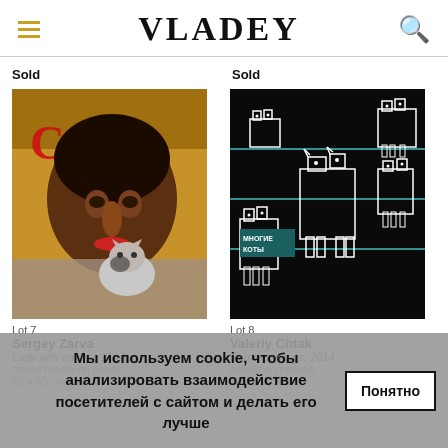VLADEY
Sold
Sold
[Figure (photo): Painting of a woman with dark hair holding a cat against a yellow background, expressionist style]
[Figure (photo): Black background painting with white line-drawn cats, text reads МНОГИЕ КОТЫ]
Lot 7
Lot 8
Sergey Zarva
Valeriy Chtak
Lady with ermine, 2014
Numerous cats, 2014
mixed media on paper
acrylic on canvas
65 x 55 cm
180 x 160 cm
Мы используем cookie, чтобы анализировать взаимодействие посетителей с сайтом и делать его лучше